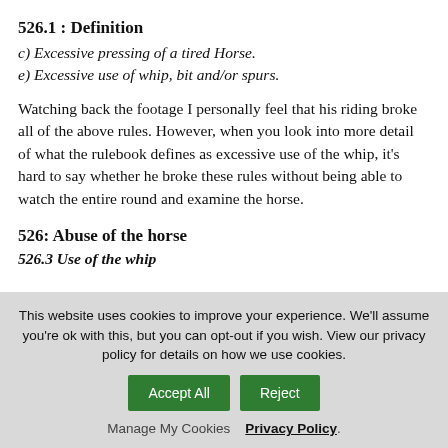526.1 : Definition
c) Excessive pressing of a tired Horse.
e) Excessive use of whip, bit and/or spurs.
Watching back the footage I personally feel that his riding broke all of the above rules. However, when you look into more detail of what the rulebook defines as excessive use of the whip, it’s hard to say whether he broke these rules without being able to watch the entire round and examine the horse.
526: Abuse of the horse
526.3 Use of the whip
This website uses cookies to improve your experience. We'll assume you're ok with this, but you can opt-out if you wish. View our privacy policy for details on how we use cookies.
Accept All   Reject
Manage My Cookies   Privacy Policy.